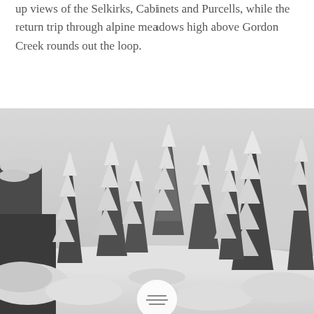up views of the Selkirks, Cabinets and Purcells, while the return trip through alpine meadows high above Gordon Creek rounds out the loop.
[Figure (photo): Black and white photograph of snow-covered evergreen trees (spruce/fir) in a winter mountain forest scene. Heavy snow weighs down the branches. A path or clearing is visible in the middle ground.]